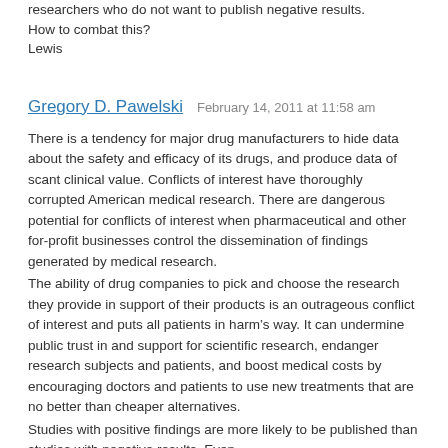researchers who do not want to publish negative results. How to combat this?
Lewis
Gregory D. Pawelski   February 14, 2011 at 11:58 am
There is a tendency for major drug manufacturers to hide data about the safety and efficacy of its drugs, and produce data of scant clinical value. Conflicts of interest have thoroughly corrupted American medical research. There are dangerous potential for conflicts of interest when pharmaceutical and other for-profit businesses control the dissemination of findings generated by medical research.
The ability of drug companies to pick and choose the research they provide in support of their products is an outrageous conflict of interest and puts all patients in harm's way. It can undermine public trust in and support for scientific research, endanger research subjects and patients, and boost medical costs by encouraging doctors and patients to use new treatments that are no better than cheaper alternatives.
Studies with positive findings are more likely to be published than studies with negative results. Even